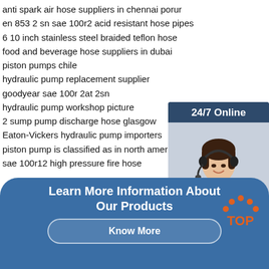anti spark air hose suppliers in chennai porur
en 853 2 sn sae 100r2 acid resistant hose pipes
6 10 inch stainless steel braided teflon hose
food and beverage hose suppliers in dubai
piston pumps chile
hydraulic pump replacement supplier
goodyear sae 100r 2at 2sn
hydraulic pump workshop picture
2 sump pump discharge hose glasgow
Eaton-Vickers hydraulic pump importers
piston pump is classified as in north america
sae 100r12 high pressure fire hose
[Figure (photo): Customer service representative with headset, smiling, inside a dark blue sidebar widget with '24/7 Online' header, 'Click here for free chat!' text and orange QUOTATION button]
Learn More Information About Our Products
Know More